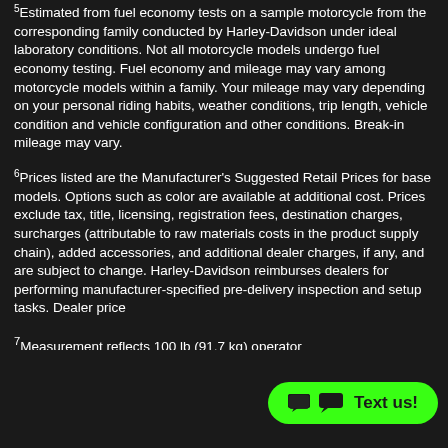5Estimated from fuel economy tests on a sample motorcycle from the corresponding family conducted by Harley-Davidson under ideal laboratory conditions. Not all motorcycle models undergo fuel economy testing. Fuel economy and mileage may vary among motorcycle models within a family. Your mileage may vary depending on your personal riding habits, weather conditions, trip length, vehicle condition and vehicle configuration and other conditions. Break-in mileage may vary.
6Prices listed are the Manufacturer's Suggested Retail Prices for base models. Options such as color are available at additional cost. Prices exclude tax, title, licensing, registration fees, destination charges, surcharges (attributable to raw materials costs in the product supply chain), added accessories, and additional dealer charges, if any, and are subject to change. Harley-Davidson reimburses dealers for performing manufacturer-specified pre-delivery inspection and setup tasks. Dealer price...
7Measurement reflects 100 lb (91.7 kg) operator...